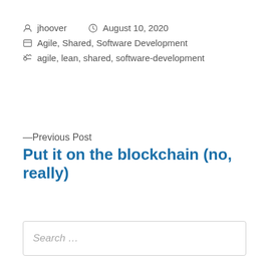jhoover   August 10, 2020
Agile, Shared, Software Development
agile, lean, shared, software-development
—Previous Post
Put it on the blockchain (no, really)
Search …